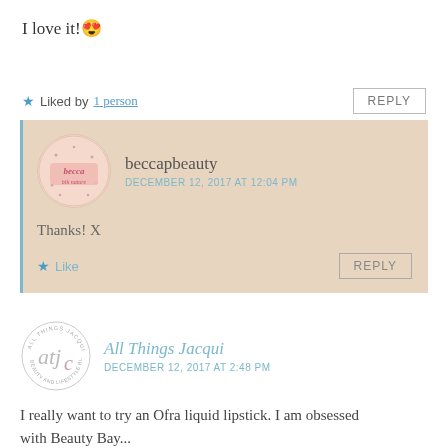I love it! 😍
★ Liked by 1 person   REPLY
beccapbeauty
DECEMBER 12, 2017 AT 12:04 PM
Thanks! X
★ Like   REPLY
All Things Jacqui
DECEMBER 12, 2017 AT 2:48 PM
I really want to try an Ofra liquid lipstick. I am obsessed with Beauty Bay...